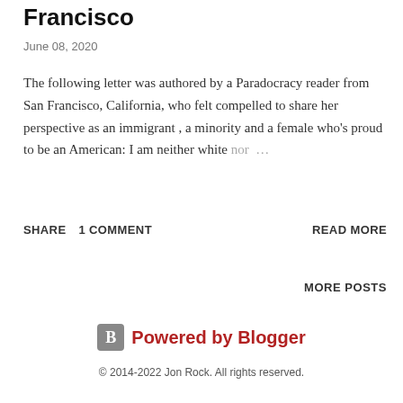Francisco
June 08, 2020
The following letter was authored by a Paradocracy reader from San Francisco, California, who felt compelled to share her perspective as an immigrant , a minority and a female who's proud to be an American: I am neither white nor ...
SHARE   1 COMMENT   READ MORE
MORE POSTS
Powered by Blogger
© 2014-2022 Jon Rock. All rights reserved.